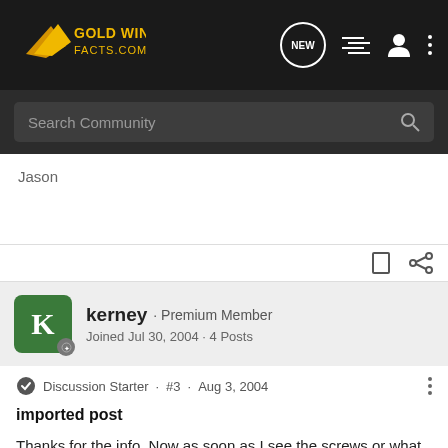[Figure (logo): Gold Wing Facts.com logo with wing icon in yellow/gold on dark background]
Search Community
Jason
kerney · Premium Member
Joined Jul 30, 2004 · 4 Posts
Discussion Starter · #3 · Aug 3, 2004
imported post
Thanks for the info. Now as soon as I see the screws or what ever that remove the console I will attack this problem.